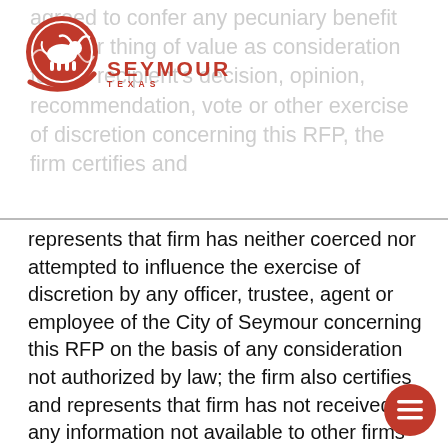agreed to confer any pecuniary benefit or other thing of value as consideration for the recipient's decision, opinion, recommendation, vote or other exercise of discretion concerning this RFP, the firm certifies and
[Figure (logo): Seymour Texas city seal logo — red circular emblem with bull silhouette and seismic wave, with 'SEYMOUR' in bold red caps and 'TEXAS' in smaller red spaced caps below]
represents that firm has neither coerced nor attempted to influence the exercise of discretion by any officer, trustee, agent or employee of the City of Seymour concerning this RFP on the basis of any consideration not authorized by law; the firm also certifies and represents that firm has not received any information not available to other firms so as to give the undersigned a preferential advantage with respect to this RFP; the firm further certifies and represents that firm has not violated any state, federal, or local law, regulation or ordinance relating to bribery, improper influence, collusion or the like and that firm will not in the future offer, confer, or agree to confer any pecuniary benefit or other thing of value of any officer, trustee, agent or employee of the City of Seymour in return for the person having exercised their person's